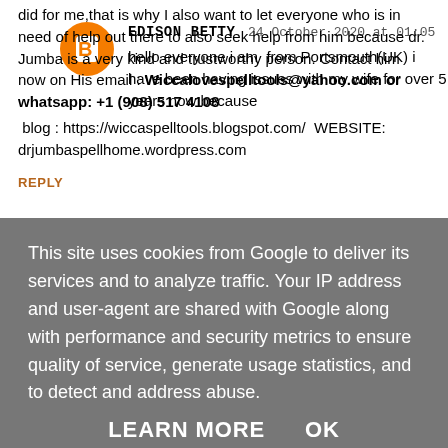did for me,that is why I also want to let everyone who is in need of help out there to also seek help from him because dr. Jumba is a very kind and trustworthy person. Contact him now on His email : Wiccalovespelltools@yahoo.com or whatsapp: +1 (908) 517 4108
 blog : https://wiccaspelltools.blogspot.com/  WEBSITE: drjumbaspellhome.wordpress.com
REPLY
EDISON BETTY  24 October 2020 at 01:05
hello everyone i am  from Portsmouth(UK) i have been having issues with my wife for over 5 years now because
This site uses cookies from Google to deliver its services and to analyze traffic. Your IP address and user-agent are shared with Google along with performance and security metrics to ensure quality of service, generate usage statistics, and to detect and address abuse.
LEARN MORE   OK